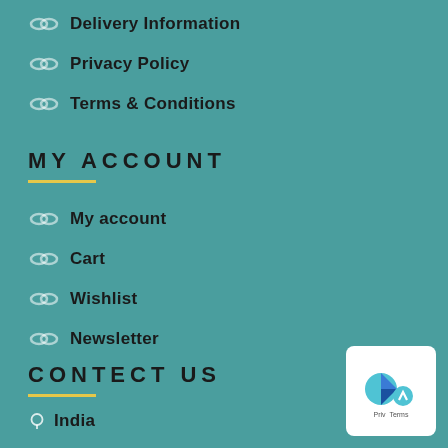Delivery Information
Privacy Policy
Terms & Conditions
MY ACCOUNT
My account
Cart
Wishlist
Newsletter
CONTECT US
India